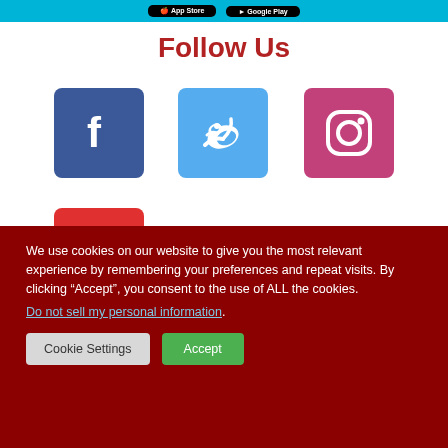[Figure (screenshot): App Store and Google Play buttons on a cyan/teal background strip at the top]
Follow Us
[Figure (logo): Facebook icon - white f on dark blue square]
[Figure (logo): Twitter icon - white bird on light blue square]
[Figure (logo): Instagram icon - white camera outline on pink/magenta square]
[Figure (logo): YouTube icon - white play button on red square]
We use cookies on our website to give you the most relevant experience by remembering your preferences and repeat visits. By clicking “Accept”, you consent to the use of ALL the cookies.
Do not sell my personal information.
Cookie Settings
Accept